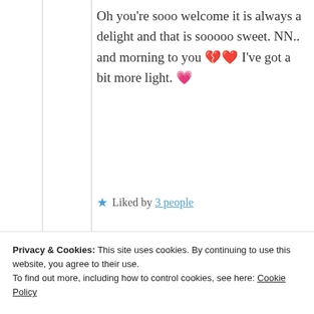Oh you're sooo welcome it is always a delight and that is sooooo sweet. NN.. and morning to you 💔❤️ I've got a bit more light. 💝
★ Liked by 3 people
Privacy & Cookies: This site uses cookies. By continuing to use this website, you agree to their use. To find out more, including how to control cookies, see here: Cookie Policy
Close and accept
Thank you, God m...